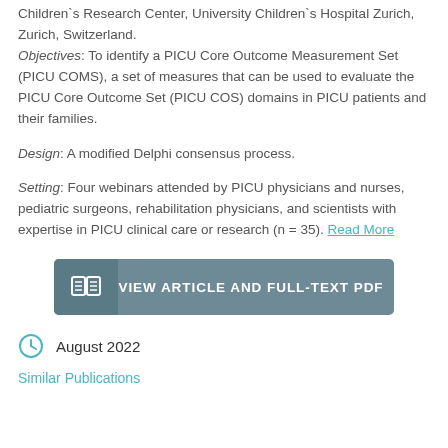Children`s Research Center, University Children`s Hospital Zurich, Zurich, Switzerland.
Objectives: To identify a PICU Core Outcome Measurement Set (PICU COMS), a set of measures that can be used to evaluate the PICU Core Outcome Set (PICU COS) domains in PICU patients and their families.
Design: A modified Delphi consensus process.
Setting: Four webinars attended by PICU physicians and nurses, pediatric surgeons, rehabilitation physicians, and scientists with expertise in PICU clinical care or research (n = 35). Read More
[Figure (other): Button: VIEW ARTICLE AND FULL-TEXT PDF with open book icon]
August 2022
Similar Publications